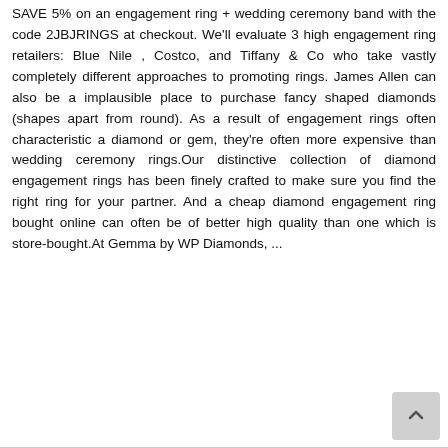SAVE 5% on an engagement ring + wedding ceremony band with the code 2JBJRINGS at checkout. We'll evaluate 3 high engagement ring retailers: Blue Nile , Costco, and Tiffany & Co who take vastly completely different approaches to promoting rings. James Allen can also be a implausible place to purchase fancy shaped diamonds (shapes apart from round). As a result of engagement rings often characteristic a diamond or gem, they're often more expensive than wedding ceremony rings.Our distinctive collection of diamond engagement rings has been finely crafted to make sure you find the right ring for your partner. And a cheap diamond engagement ring bought online can often be of better high quality than one which is store-bought.At Gemma by WP Diamonds, ...